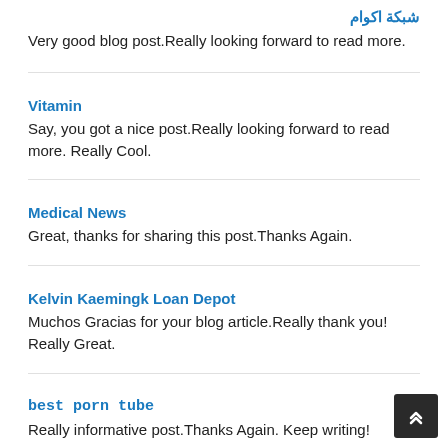شبكة اكوام
Very good blog post.Really looking forward to read more.
Vitamin
Say, you got a nice post.Really looking forward to read more. Really Cool.
Medical News
Great, thanks for sharing this post.Thanks Again.
Kelvin Kaemingk Loan Depot
Muchos Gracias for your blog article.Really thank you! Really Great.
best porn tube
Really informative post.Thanks Again. Keep writing!